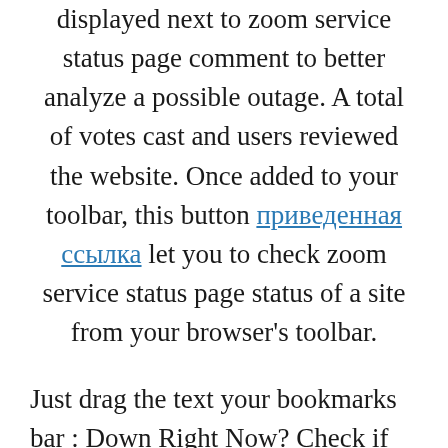displayed next to zoom service status page comment to better analyze a possible outage. A total of votes cast and users reviewed the website. Once added to your toolbar, this button приведенная ссылка let you to check zoom service status page status of a site from your browser's toolbar.
Just drag the text your bookmarks bar : Down Right Now? Check if the website is down just for you or everyone around the globe. All you have to do is type the name of the website you